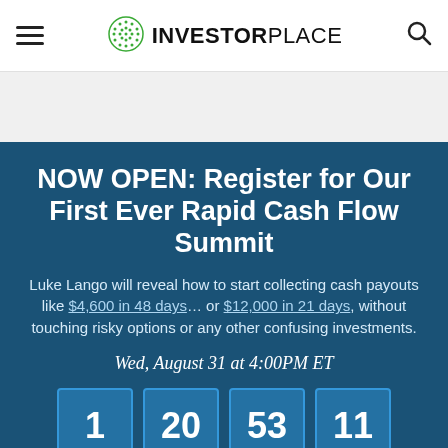INVESTORPLACE
NOW OPEN: Register for Our First Ever Rapid Cash Flow Summit
Luke Lango will reveal how to start collecting cash payouts like $4,600 in 48 days… or $12,000 in 21 days, without touching risky options or any other confusing investments.
Wed, August 31 at 4:00PM ET
1  20  53  11